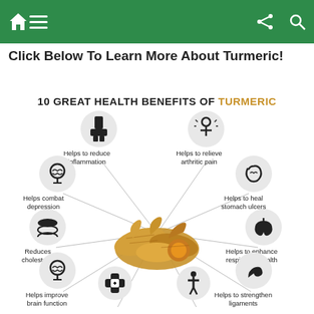Navigation bar with home, menu, share, search icons
Click Below To Learn More About Turmeric!
[Figure (infographic): Infographic titled '10 GREAT HEALTH BENEFITS OF TURMERIC' showing turmeric root in the center surrounded by 10 circular icons with labels: Helps to reduce inflammation, Helps to relieve arthritic pain, Helps to heal stomach ulcers, Helps to enhance respiratory health, Helps to strengthen ligaments, (bottom center icons partially visible), Helps improve brain function, Reduces cholesterol, Helps combat depression]